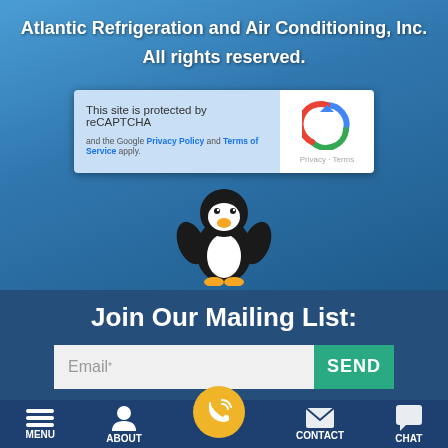Atlantic Refrigeration and Air Conditioning, Inc.
All rights reserved.
[Figure (screenshot): reCAPTCHA widget showing 'This site is protected by reCAPTCHA and the Google Privacy Policy and Terms of Service apply.' with reCAPTCHA logo, Privacy and Terms links.]
[Figure (illustration): Cartoon penguin waving with both wings up, black and white body with orange beak.]
Join Our Mailing List:
Email*
SEND
MENU   ABOUT   CONTACT   CHAT